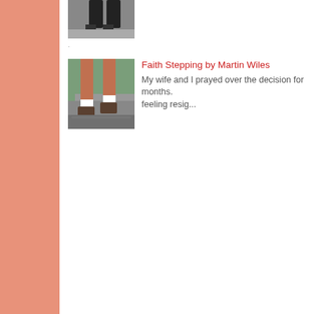[Figure (photo): Partial view of legs/feet of a person, cropped at top, only bottom portion of image visible]
[Figure (photo): Person's legs and feet stepping on a wet surface, wearing boots and white socks, outdoor setting]
Faith Stepping by Martin Wiles
My wife and I prayed over the decision for months. feeling resig...